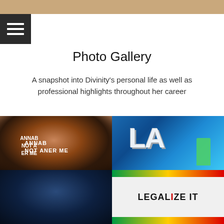[Figure (photo): Top decorative banner strip with warm tan/bronze tones]
Photo Gallery
Photo Gallery
A snapshot into Divinity's personal life as well as professional highlights throughout her career
[Figure (photo): Woman with long burgundy braids smiling, wearing a black t-shirt that reads 'CANNABIS NOT A CRIME', working at a counter]
[Figure (photo): Large white LA Dodgers-style logo on a pixelated blue background with a person in a green outfit performing on stage]
[Figure (photo): Dark blue-toned close-up photo of what appears to be a gorilla or large animal]
[Figure (photo): Sign reading 'LEGALIZE IT' with red, yellow, and green Rastafarian/Pan-African colored stripes at top and bottom]